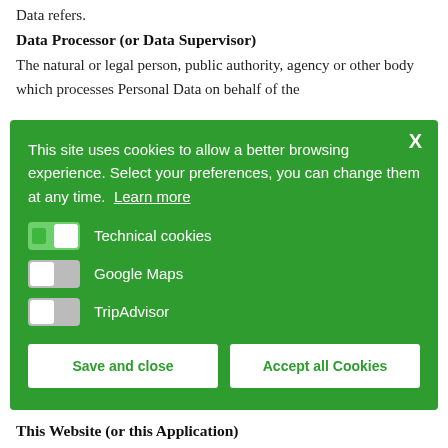Data refers.
Data Processor (or Data Supervisor)
The natural or legal person, public authority, agency or other body which processes Personal Data on behalf of the Controller, as described in this privacy...
This site uses cookies to allow a better browsing experience. Select your preferences, you can change them at any time.  Learn more
Technical cookies
Google Maps
TripAdvisor
Save and close    Accept all Cookies
This Website (or this Application)